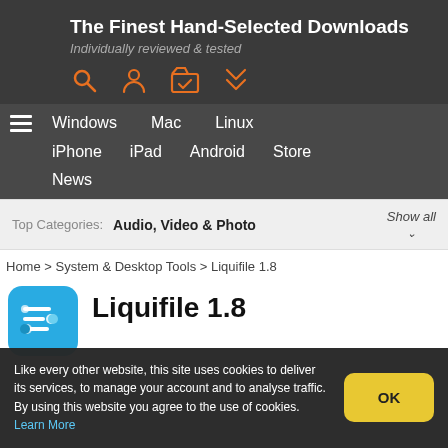The Finest Hand-Selected Downloads — Individually reviewed & tested
Windows | Mac | Linux | iPhone | iPad | Android | Store | News
Top Categories: Audio, Video & Photo  Show all
Home > System & Desktop Tools > Liquifile 1.8
Liquifile 1.8
Like every other website, this site uses cookies to deliver its services, to manage your account and to analyse traffic. By using this website you agree to the use of cookies. Learn More